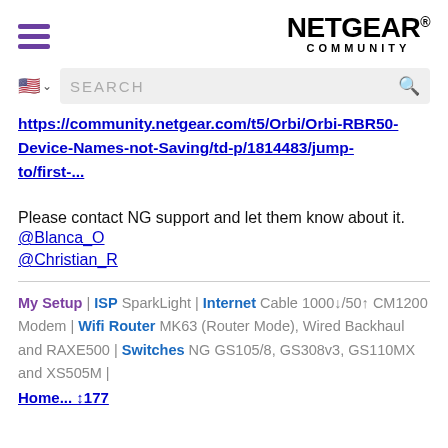NETGEAR COMMUNITY
https://community.netgear.com/t5/Orbi/Orbi-RBR50-Device-Names-not-Saving/td-p/1814483/jump-to/first-...
Please contact NG support and let them know about it.
@Blanca_O
@Christian_R
My Setup | ISP SparkLight | Internet Cable 1000↓/50↑ CM1200 Modem | Wifi Router MK63 (Router Mode), Wired Backhaul and RAXE500 | Switches NG GS105/8, GS308v3, GS110MX and XS505M |